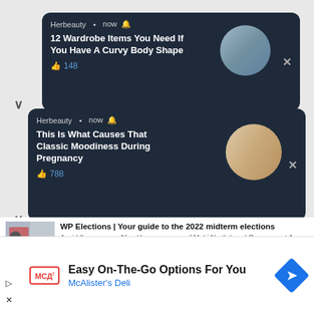[Figure (screenshot): Herbeauty notification card 1: '12 Wardrobe Items You Need If You Have A Curvy Body Shape' with 148 likes and circular photo]
[Figure (screenshot): Herbeauty notification card 2: 'This Is What Causes That Classic Moodiness During Pregnancy' with 788 likes and circular photo]
WP Elections | Your guide to the 2022 midterm elections
A middle age man, Aliyu Hammansewo, of Mubi North Local Government Area has been placed in prison custody for allegedly stabbing his
The Washington Post Sponsored
Easy On-The-Go Options For You McAlister's Deli